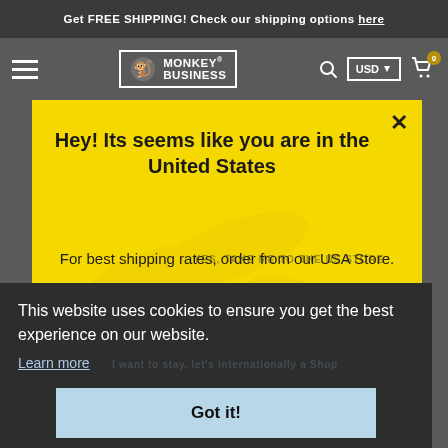Get FREE SHIPPING! Check our shipping options here
[Figure (logo): Monkey Business logo with monkey icon, brand name, search icon, USD currency selector, and cart icon with 0 badge]
Hey! Its seems like you are in the United States
For best shipping rates, order from our USA Store.
YES, TAKE ME TO THE US STORE
This website uses cookies to ensure you get the best experience on our website.
Learn more
Got it!
I want to stay, let's internationally a Shop
1. Or applicants anche I tempi di